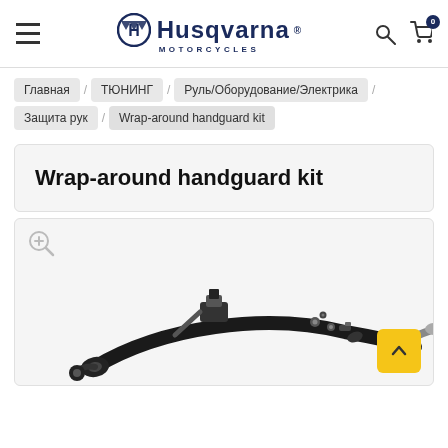Husqvarna Motorcycles
Главная / ТЮНИНГ / Руль/Оборудование/Электрика / Защита рук / Wrap-around handguard kit
Wrap-around handguard kit
[Figure (photo): Photo of Wrap-around handguard kit motorcycle parts — metal brackets, screws, and handlebar components on a light background]